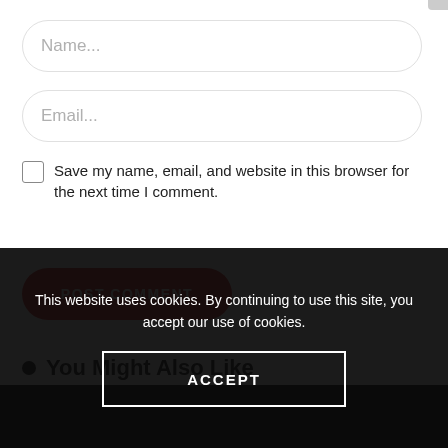[Figure (screenshot): Name input field with placeholder text 'Name...' and rounded border]
[Figure (screenshot): Email input field with placeholder text 'Email...' and rounded border]
Save my name, email, and website in this browser for the next time I comment.
[Figure (screenshot): Red rounded 'POST COMMENT' button]
You Might Also Like
This website uses cookies. By continuing to use this site, you accept our use of cookies.
[Figure (screenshot): ACCEPT button with white border on dark overlay]